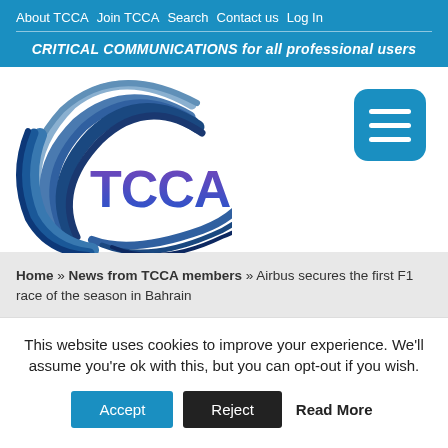About TCCA  Join TCCA  Search  Contact us  Log In
CRITICAL COMMUNICATIONS for all professional users
[Figure (logo): TCCA logo with swoosh graphic and purple/blue TCCA text]
[Figure (other): Hamburger menu button (three horizontal white lines on blue rounded square)]
Home » News from TCCA members » Airbus secures the first F1 race of the season in Bahrain
This website uses cookies to improve your experience. We'll assume you're ok with this, but you can opt-out if you wish.
Accept  Reject  Read More